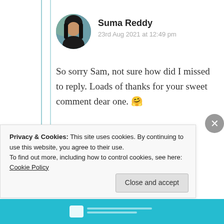Suma Reddy
23rd Aug 2021 at 12:49 pm
So sorry Sam, not sure how did I missed to reply. Loads of thanks for your sweet comment dear one. 🤗
★ Liked by 1 person
Log in to Reply
Privacy & Cookies: This site uses cookies. By continuing to use this website, you agree to their use.
To find out more, including how to control cookies, see here: Cookie Policy
Close and accept